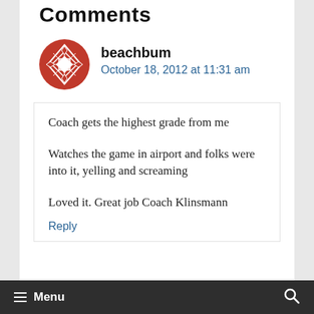Comments
beachbum
October 18, 2012 at 11:31 am
Coach gets the highest grade from me

Watches the game in airport and folks were into it, yelling and screaming

Loved it. Great job Coach Klinsmann
Reply
Menu